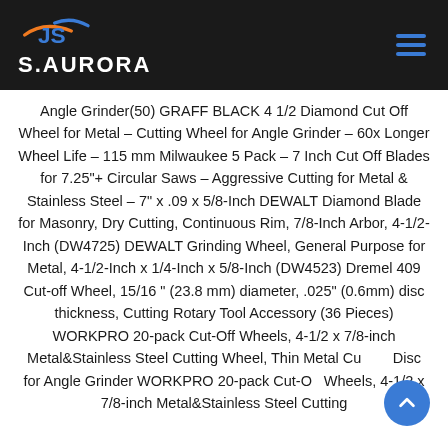S.AURORA
Angle Grinder(50) GRAFF BLACK 4 1/2 Diamond Cut Off Wheel for Metal – Cutting Wheel for Angle Grinder – 60x Longer Wheel Life – 115 mm Milwaukee 5 Pack – 7 Inch Cut Off Blades for 7.25"+ Circular Saws – Aggressive Cutting for Metal & Stainless Steel – 7" x .09 x 5/8-Inch DEWALT Diamond Blade for Masonry, Dry Cutting, Continuous Rim, 7/8-Inch Arbor, 4-1/2-Inch (DW4725) DEWALT Grinding Wheel, General Purpose for Metal, 4-1/2-Inch x 1/4-Inch x 5/8-Inch (DW4523) Dremel 409 Cut-off Wheel, 15/16 " (23.8 mm) diameter, .025" (0.6mm) disc thickness, Cutting Rotary Tool Accessory (36 Pieces) WORKPRO 20-pack Cut-Off Wheels, 4-1/2 x 7/8-inch Metal&Stainless Steel Cutting Wheel, Thin Metal Cutting Disc for Angle Grinder WORKPRO 20-pack Cut-Off Wheels, 4-1/2 x 7/8-inch Metal&Stainless Steel Cutting